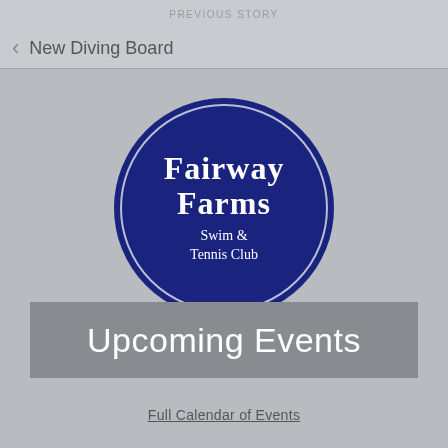PREVIOUS STORY
New Diving Board
[Figure (logo): Fairway Farms Swim & Tennis Club circular logo — dark navy blue circle with white border and white serif text reading 'Fairway Farms Swim & Tennis Club']
Upcoming Events
Full Calendar of Events